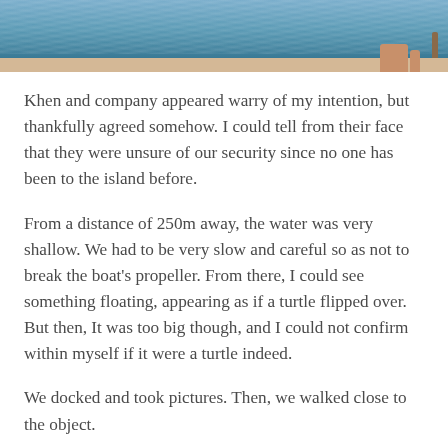[Figure (photo): Top portion of a photo showing water/ocean in the background with wooden dock planks in the foreground and what appears to be a person's legs/feet standing on the dock with a rope or pole visible on the right side.]
Khen and company appeared warry of my intention, but thankfully agreed somehow. I could tell from their face that they were unsure of our security since no one has been to the island before.
From a distance of 250m away, the water was very shallow. We had to be very slow and careful so as not to break the boat's propeller. From there, I could see something floating, appearing as if a turtle flipped over. But then, It was too big though, and I could not confirm within myself if it were a turtle indeed.
We docked and took pictures. Then, we walked close to the object.